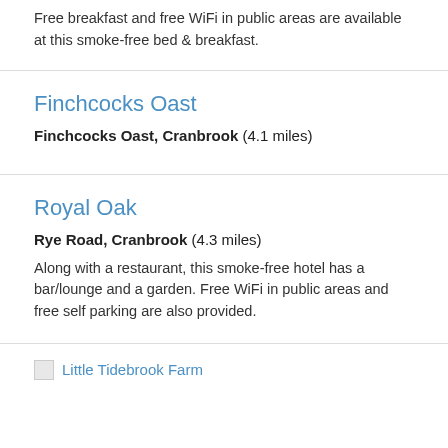Free breakfast and free WiFi in public areas are available at this smoke-free bed & breakfast.
Finchcocks Oast
Finchcocks Oast, Cranbrook (4.1 miles)
Royal Oak
Rye Road, Cranbrook (4.3 miles)
Along with a restaurant, this smoke-free hotel has a bar/lounge and a garden. Free WiFi in public areas and free self parking are also provided.
Little Tidebrook Farm